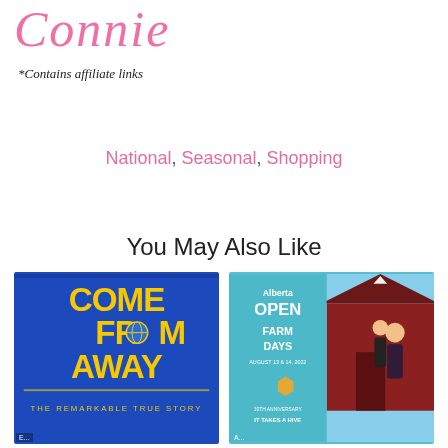[Figure (illustration): Handwritten-style cursive signature reading 'Connie' in pink]
*Contains affiliate links
National, Seasonal, Shopping
You May Also Like
[Figure (photo): Come From Away musical promotional image — blue background with yellow text reading COME FROM AWAY THE REMARKABLE TRUE STORY with a globe graphic]
[Figure (photo): Alberta Open Farm Days promotional image — August 13 & 14, 2022, 10th Anniversary, It Takes a Hive, with red barn and two children in sunflower dress]